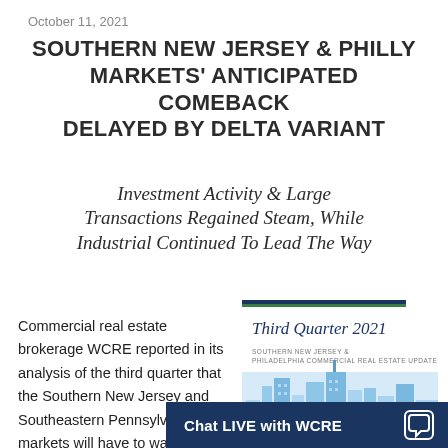October 11, 2021
SOUTHERN NEW JERSEY & PHILLY MARKETS' ANTICIPATED COMEBACK DELAYED BY DELTA VARIANT
Investment Activity & Large Transactions Regained Steam, While Industrial Continued To Lead The Way
Commercial real estate brokerage WCRE reported in its analysis of the third quarter that the Southern New Jersey and Southeastern Pennsylvania markets will have to wait a bit longer for the post-pandemic recovery. While CRE
[Figure (illustration): WCRE Third Quarter 2021 Southern New Jersey & Philadelphia Commercial Real Estate Update report cover with skyline illustration and colored top bars]
Chat LIVE with WCRE